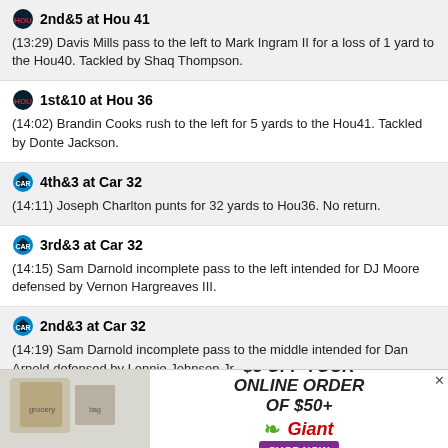2nd&5 at Hou 41
(13:29) Davis Mills pass to the left to Mark Ingram II for a loss of 1 yard to the Hou40. Tackled by Shaq Thompson.
1st&10 at Hou 36
(14:02) Brandin Cooks rush to the left for 5 yards to the Hou41. Tackled by Donte Jackson.
4th&3 at Car 32
(14:11) Joseph Charlton punts for 32 yards to Hou36. No return.
3rd&3 at Car 32
(14:15) Sam Darnold incomplete pass to the left intended for DJ Moore defensed by Vernon Hargreaves III.
2nd&3 at Car 32
(14:19) Sam Darnold incomplete pass to the middle intended for Dan Arnold defensed by Lonnie Johnson Jr..
1st&10 at Car 25
(15:00) Sam Darnold pass to the left to DJ Moore for 7 yards to the Car32. Tackled by Vernon Hargreaves III.
4th&- at Hou 25
[Figure (infographic): Giant grocery advertisement: $5 OFF YOUR ONLINE ORDER OF $50+, with Giant logo and SHOP NOW button]